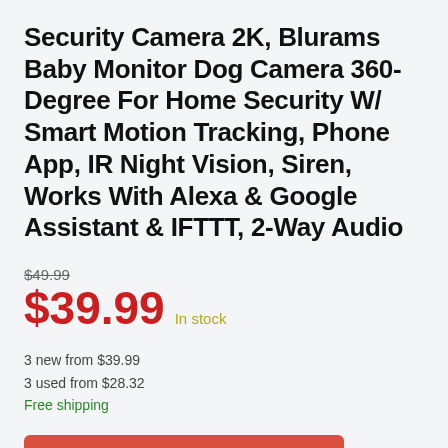Security Camera 2K, Blurams Baby Monitor Dog Camera 360-Degree For Home Security W/ Smart Motion Tracking, Phone App, IR Night Vision, Siren, Works With Alexa & Google Assistant & IFTTT, 2-Way Audio
$49.99
$39.99 In stock
3 new from $39.99
3 used from $28.32
Free shipping
BUY NOW